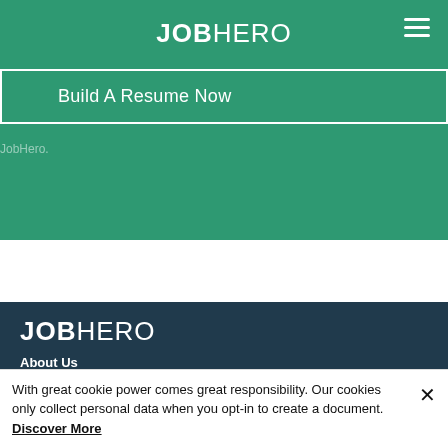JOBHERO
Build A Resume Now
JobHero.
JOBHERO
About Us
FAQ
Contact Us
Terms and Conditions of Use
With great cookie power comes great responsibility. Our cookies only collect personal data when you opt-in to create a document. Discover More